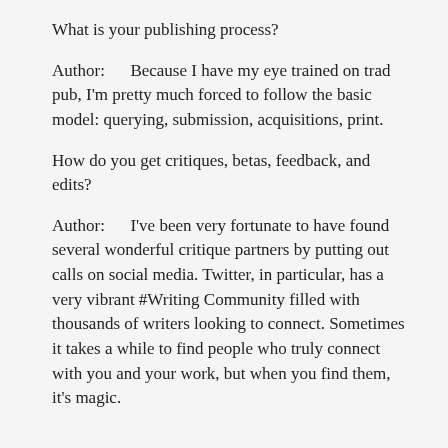What is your publishing process?
Author:      Because I have my eye trained on trad pub, I'm pretty much forced to follow the basic model: querying, submission, acquisitions, print.
How do you get critiques, betas, feedback, and edits?
Author:      I've been very fortunate to have found several wonderful critique partners by putting out calls on social media. Twitter, in particular, has a very vibrant #Writing Community filled with thousands of writers looking to connect. Sometimes it takes a while to find people who truly connect with you and your work, but when you find them, it's magic.